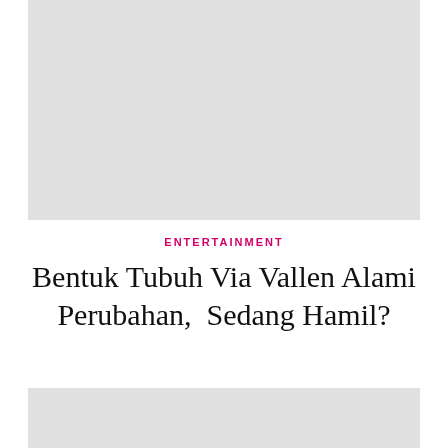[Figure (photo): Gray placeholder image at top of page]
ENTERTAINMENT
Bentuk Tubuh Via Vallen Alami Perubahan, Sedang Hamil?
[Figure (photo): Gray placeholder image at bottom of page with close button]